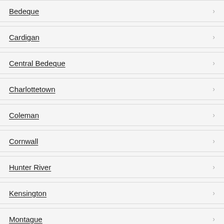Bedeque
Cardigan
Central Bedeque
Charlottetown
Coleman
Cornwall
Hunter River
Kensington
Montague
Morell